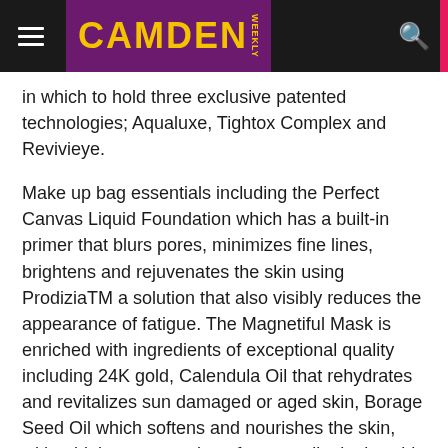CAMDEN WEEKLY
in which to hold three exclusive patented technologies; Aqualuxe, Tightox Complex and Revivieye.
Make up bag essentials including the Perfect Canvas Liquid Foundation which has a built-in primer that blurs pores, minimizes fine lines, brightens and rejuvenates the skin using ProdiziaTM a solution that also visibly reduces the appearance of fatigue. The Magnetiful Mask is enriched with ingredients of exceptional quality including 24K gold, Calendula Oil that rehydrates and revitalizes sun damaged or aged skin, Borage Seed Oil which softens and nourishes the skin, with a high concentration of gamma-linolenic acid and Collagen to enhance skin elasticity.
Within just three years, ÉLÉVATIONE has grown into a global brand now with twelve boutiques located in Hong Kong, Singapore, Macau, the Philippines and America. "At